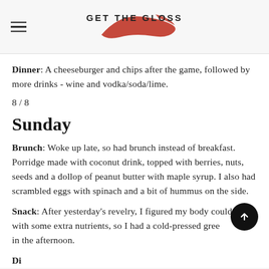GET THE GLOSS
Dinner: A cheeseburger and chips after the game, followed by more drinks - wine and vodka/soda/lime.
8 / 8
Sunday
Brunch: Woke up late, so had brunch instead of breakfast. Porridge made with coconut drink, topped with berries, nuts, seeds and a dollop of peanut butter with maple syrup. I also had scrambled eggs with spinach and a bit of hummus on the side.
Snack: After yesterday's revelry, I figured my body could do with some extra nutrients, so I had a cold-pressed green juice in the afternoon.
Di...